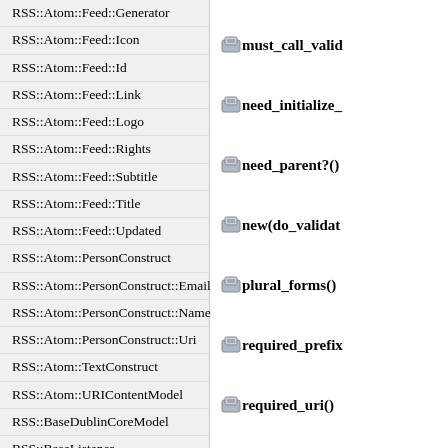RSS::Atom::Feed::Generator
RSS::Atom::Feed::Icon
RSS::Atom::Feed::Id
RSS::Atom::Feed::Link
RSS::Atom::Feed::Logo
RSS::Atom::Feed::Rights
RSS::Atom::Feed::Subtitle
RSS::Atom::Feed::Title
RSS::Atom::Feed::Updated
RSS::Atom::PersonConstruct
RSS::Atom::PersonConstruct::Email
RSS::Atom::PersonConstruct::Name
RSS::Atom::PersonConstruct::Uri
RSS::Atom::TextConstruct
RSS::Atom::URIContentModel
RSS::BaseDublinCoreModel
RSS::BaseListener
RSS::BaseModel
RSS::BaseParser
RSS::ContentModel
RSS::ConversionError
must_call_valid
need_initialize_
need_parent?()
new(do_validat
plural_forms()
required_prefix
required_uri()
tag_name()
to_element_me